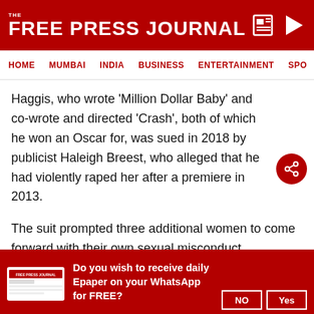THE FREE PRESS JOURNAL
HOME  MUMBAI  INDIA  BUSINESS  ENTERTAINMENT  SPO
Haggis, who wrote 'Million Dollar Baby' and co-wrote and directed 'Crash', both of which he won an Oscar for, was sued in 2018 by publicist Haleigh Breest, who alleged that he had violently raped her after a premiere in 2013.
The suit prompted three additional women to come forward with their own sexual misconduct accusations against Haggis, who has vehemently denied the claims.
Do you wish to receive daily Epaper on your WhatsApp for FREE?